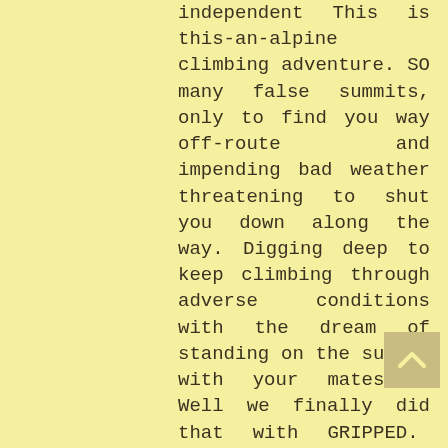independent This is this-an-alpine climbing adventure. SO many false summits, only to find you way off-route and impending bad weather threatening to shut you down along the way. Digging deep to keep climbing through adverse conditions with the dream of standing on the summit with your mates!!!  Well we finally did that with GRIPPED.  Even though it took 5 years to get to the summit, we are stoked we are here now and hope that the public will enjoy the rock climbing masterpiece of EPICNESS!! check the link for streaming platforms and please share with friends... OH yeah and keep the comments coming... You would not believe the emails and slander this film has been getting on the climbing forums. No such thing as bad press, please keep it
[Figure (illustration): A scroll-to-top button with an upward-pointing chevron/arrow icon on a tan/khaki background square]